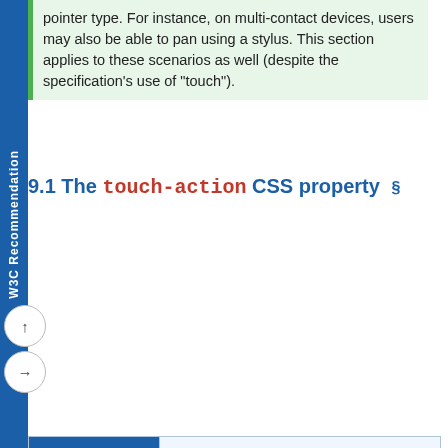W3C Recommendation
pointer type. For instance, on multi-contact devices, users may also be able to pan using a stylus. This section applies to these scenarios as well (despite the specification's use of "touch").
9.1 The touch-action CSS property §
| Name: | touch-action |
| --- | --- |
| Value: | auto | none | [ pan-x || pan-y ] | manipulation |
| Initial: | auto |
| Applies to: | all elements except: non-replaced inline elements, table rows, row groups, table columns, and column groups. |
| Inherited: | no |